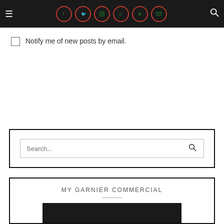Navigation bar with hamburger menu, social icons (Facebook, Twitter, Instagram, Pinterest, YouTube, Email), and search icon
Notify me of new posts by email.
[Figure (screenshot): Search widget box with search input field and search button]
[Figure (screenshot): MY GARNIER COMMERCIAL widget box with title, divider, and dark thumbnail image]